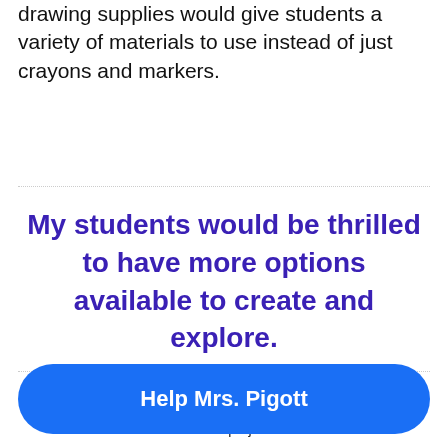drawing supplies would give students a variety of materials to use instead of just crayons and markers.
My students would be thrilled to have more options available to create and explore.
HOORAY! THIS PROJECT IS FULLY FUNDED
Keep the momentum going! Make a donation to Mrs. Pigott for her next project!
Help Mrs. Pigott